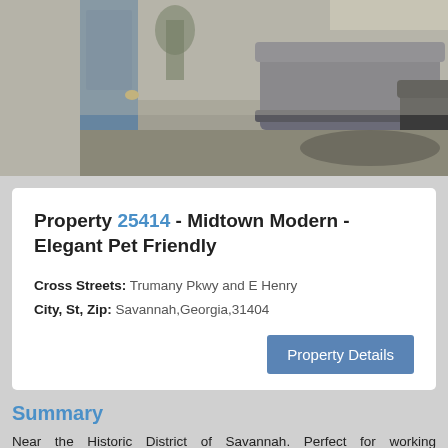[Figure (photo): Interior photo of a modern apartment/home showing a living area with sofa and a blue door visible on the left side.]
Property 25414 - Midtown Modern - Elegant Pet Friendly
Cross Streets: Trumany Pkwy and E Henry
City, St, Zip: Savannah,Georgia,31404
Property Details
Summary
Near the Historic District of Savannah. Perfect for working professionals. This is a newly remodeled home near the Historic District of Savannah. This home is a t... two-and-a-half bathroom town home. Each be... own desk, desk cha... Read More